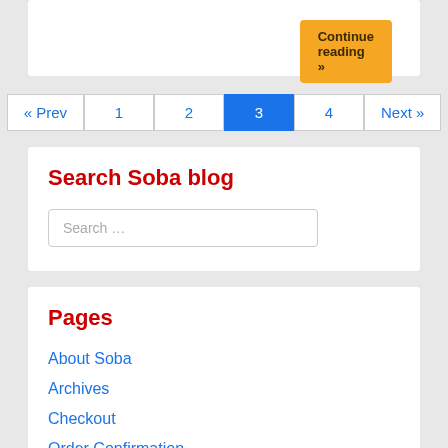Continue reading »
« Prev  1  2  3  4  Next »
Search Soba blog
Search …
Pages
About Soba
Archives
Checkout
Order Confirmation
Order Failed
🍜  Dictionary